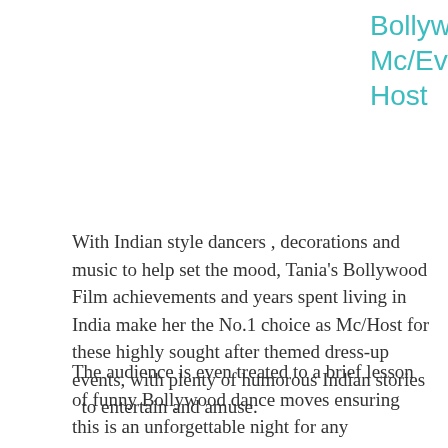Bollywood Mc/Event Host
With Indian style dancers , decorations and music to help set the mood, Tania's Bollywood Film achievements and years spent living in India make her the No.1 choice as Mc/Host for these highly sought after themed dress-up events, with plenty of humorous Indian stories to entertain and amuse.
The audience is even treated to a brief lesson of funny Bollywood dance moves ensuring this is an unforgettable night for any Company's annual event.